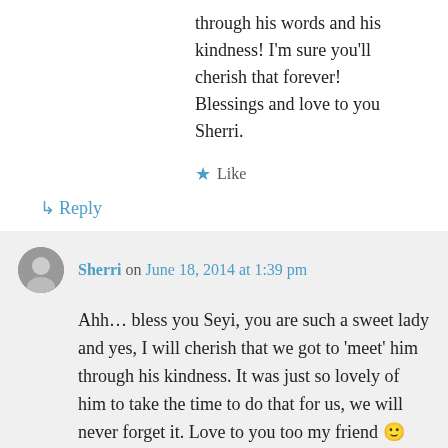through his words and his kindness! I'm sure you'll cherish that forever! Blessings and love to you Sherri.
Like
↳ Reply
Sherri on June 18, 2014 at 1:39 pm
Ahh… bless you Seyi, you are such a sweet lady and yes, I will cherish that we got to 'meet' him through his kindness. It was just so lovely of him to take the time to do that for us, we will never forget it. Love to you too my friend 🙂
Like